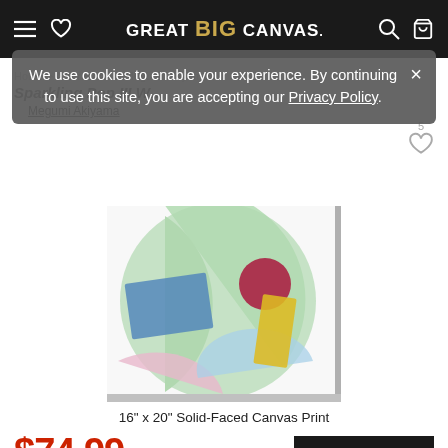GREAT BIG CANVAS.
We use cookies to enable your experience. By continuing to use this site, you are accepting our Privacy Policy.
Home > ... > Sparkling Pop III W...
Megumi Akiyama
[Figure (photo): Abstract canvas print on a white background with colorful geometric shapes: a blue rectangle, a large green semicircle, a dark red circle, a yellow rectangle, a pink semicircle, and a blue/teal arc.]
16" x 20" Solid-Faced Canvas Print
$74.99  $149.99
50% OFF - Ends Soon!
Add To Cart